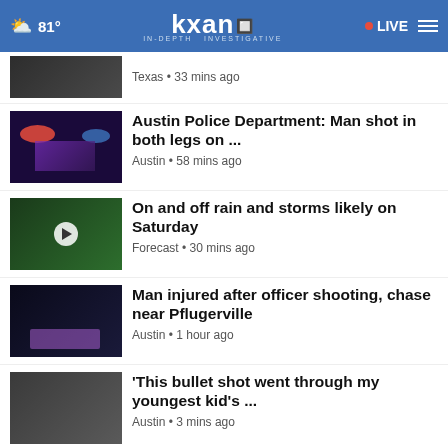81° KXAN IN-DEPTH INVESTIGATIVE • LIVE
Texas • 33 mins ago
Austin Police Department: Man shot in both legs on ...
Austin • 58 mins ago
On and off rain and storms likely on Saturday
Forecast • 30 mins ago
Man injured after officer shooting, chase near Pflugerville
Austin • 1 hour ago
'This bullet shot went through my youngest kid's ...
Austin • 3 mins ago
Downtown Austin Alliance taping local artists to ...
[Figure (screenshot): Ad banner: The Steam Team - Professional Home Cleaning Services - Contact Us]
High School football ...